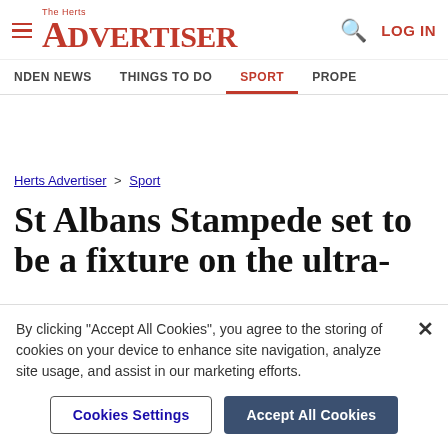The Herts Advertiser — LOG IN
NDEN NEWS  THINGS TO DO  SPORT  PROPE
Herts Advertiser > Sport
St Albans Stampede set to be a fixture on the ultra-
By clicking "Accept All Cookies", you agree to the storing of cookies on your device to enhance site navigation, analyze site usage, and assist in our marketing efforts.
Cookies Settings  Accept All Cookies